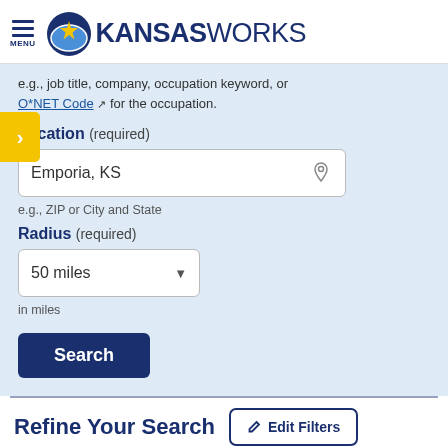[Figure (logo): KansasWorks logo with blue circle containing a yellow star and the text KANSASWORKS]
e.g., job title, company, occupation keyword, or O*NET Code for the occupation.
Location (required)
Emporia, KS
e.g., ZIP or City and State
Radius (required)
50 miles
in miles
Search
Refine Your Search
Edit Filters